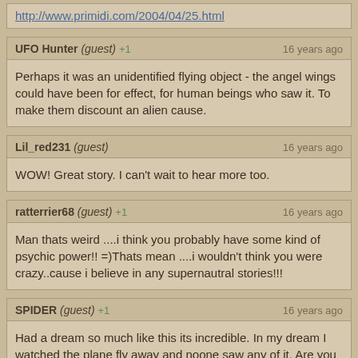http://www.primidi.com/2004/04/25.html
UFO Hunter (guest) +1 | 16 years ago
Perhaps it was an unidentified flying object - the angel wings could have been for effect, for human beings who saw it. To make them discount an alien cause.
Lil_red231 (guest) | 16 years ago
WOW! Great story. I can't wait to hear more too.
ratterrier68 (guest) +1 | 16 years ago
Man thats weird ....i think you probably have some kind of psychic power!! =)Thats mean ....i wouldn't think you were crazy..cause i believe in any supernautral stories!!!
SPIDER (guest) +1 | 16 years ago
Had a dream so much like this its incredible. In my dream I watched the plane fly away and noone saw any of it. Are you sure this wasn't a dream you had also? Its so spooky!!!!! I have chill bumpbs now!!!!